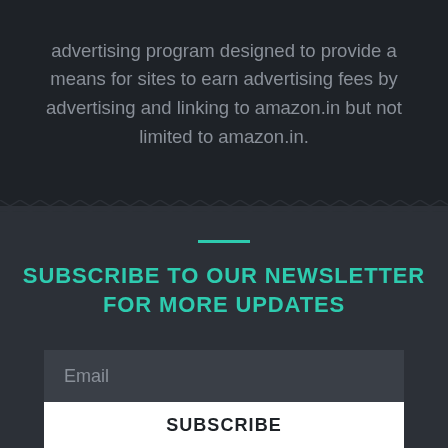advertising program designed to provide a means for sites to earn advertising fees by advertising and linking to amazon.in but not limited to amazon.in.
SUBSCRIBE TO OUR NEWSLETTER FOR MORE UPDATES
Email
SUBSCRIBE